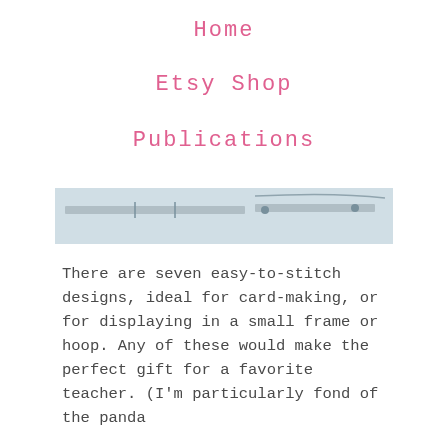Home
Etsy Shop
Publications
[Figure (photo): A photograph showing sewing/cross-stitch rulers or tools laid out on a light background, partial view cropped at the bottom of the navigation area.]
There are seven easy-to-stitch designs, ideal for card-making, or for displaying in a small frame or hoop. Any of these would make the perfect gift for a favorite teacher. (I'm particularly fond of the panda